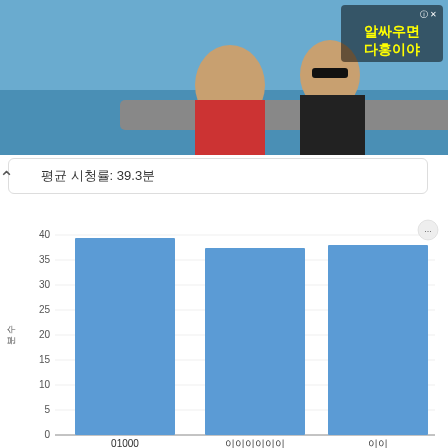[Figure (screenshot): ONDemand banner advertisement with two men on a boat and Korean text advertisement on the right]
평균 시청률: 39.3분
[Figure (bar-chart): ]